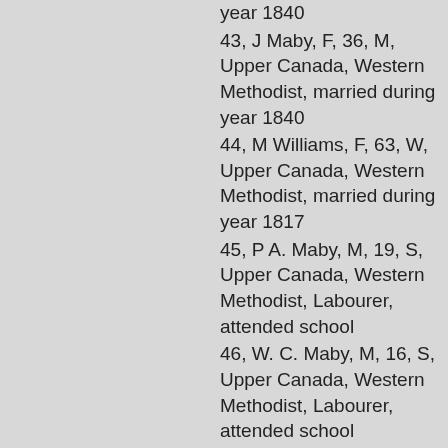year 1840
43, J Maby, F, 36, M, Upper Canada, Western Methodist, married during year 1840
44, M Williams, F, 63, W, Upper Canada, Western Methodist, married during year 1817
45, P A. Maby, M, 19, S, Upper Canada, Western Methodist, Labourer, attended school
46, W. C. Maby, M, 16, S, Upper Canada, Western Methodist, Labourer, attended school
47, M E. Maby, F, 12, S, Upper Canada, Western Methodist, attended school